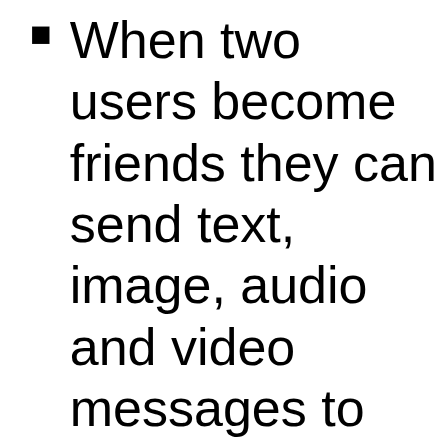When two users become friends they can send text, image, audio and video messages to each other. Kimboo holds the right to